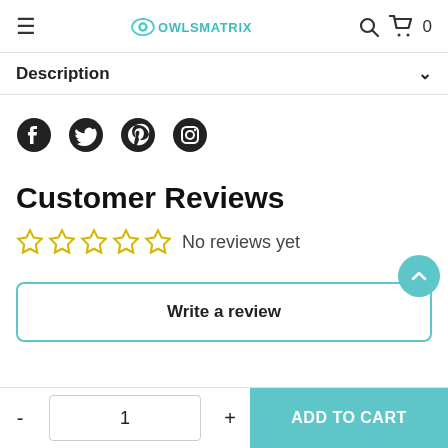OWLSMATRIX — navigation bar with hamburger menu, logo, search and cart icons
Description
[Figure (other): Social media icons: Facebook, Twitter, Pinterest, Instagram]
Customer Reviews
☆☆☆☆☆ No reviews yet
Write a review
- 1 + ADD TO CART